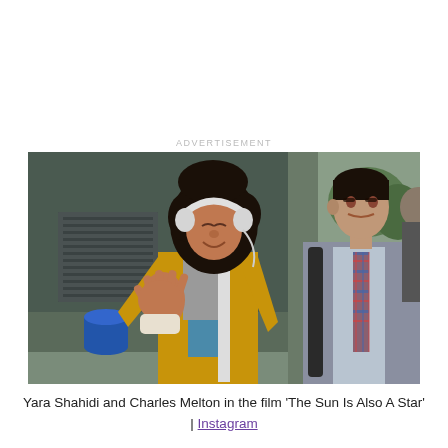ADVERTISEMENT
[Figure (photo): Yara Shahidi and Charles Melton in the film 'The Sun Is Also A Star'. A young woman with curly hair wearing headphones, a yellow jacket, and a grey shirt gestures with her hand. A young man in a grey suit with a plaid tie walks behind her.]
Yara Shahidi and Charles Melton in the film 'The Sun Is Also A Star' | Instagram